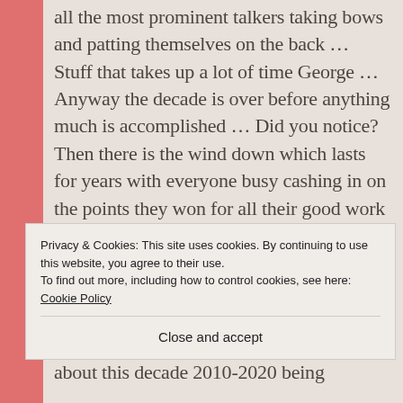all the most prominent talkers taking bows and patting themselves on the back … Stuff that takes up a lot of time George … Anyway the decade is over before anything much is accomplished … Did you notice? Then there is the wind down which lasts for years with everyone busy cashing in on the points they won for all their good work … Well that sure can eat into the next decade … So what happens is that next decade gets lost in the shuffle and nobody really hears about it until it's almost over. For example, have you heard anything about this decade 2010-2020 being
Privacy & Cookies: This site uses cookies. By continuing to use this website, you agree to their use.
To find out more, including how to control cookies, see here: Cookie Policy
Close and accept